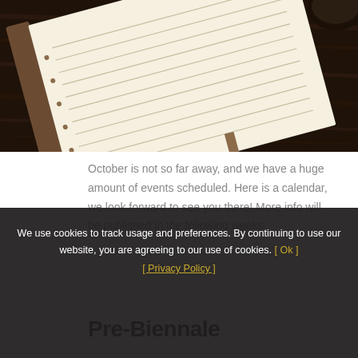[Figure (photo): Open lined notebook/journal lying on a dark wooden table, with a cup partially visible at top right and a leather bookmark ribbon visible.]
October is not so far away, and we have a huge amount of events scheduled. Here is a calendar, we look forward to see you there! More info will be published in the following weeks.
Pre-Biennale
We use cookies to track usage and preferences. By continuing to use our website, you are agreeing to our use of cookies. [ Ok ] [ Privacy Policy ]